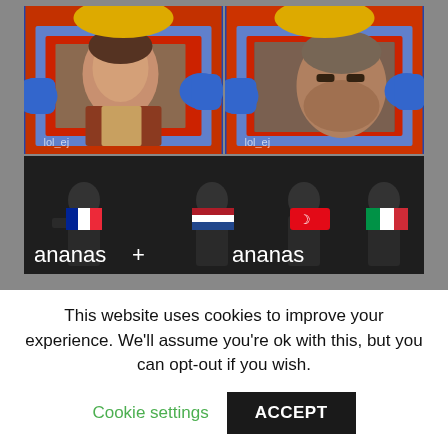[Figure (illustration): Internet meme in three panels. Top two panels show a cartoon character (Sonic-like blue superhero) holding up pictures — left panel shows a younger Obi-Wan Kenobi photo, right panel closes-up on an older bearded Obi-Wan Kenobi. Both panels have 'lol_ej' watermark. Bottom panel shows soldiers saluting with country flag emojis (French, Dutch, Turkish, Italian flags) and the text 'ananas' appearing twice, referencing the word for pineapple across languages.]
This website uses cookies to improve your experience. We'll assume you're ok with this, but you can opt-out if you wish.
Cookie settings   ACCEPT